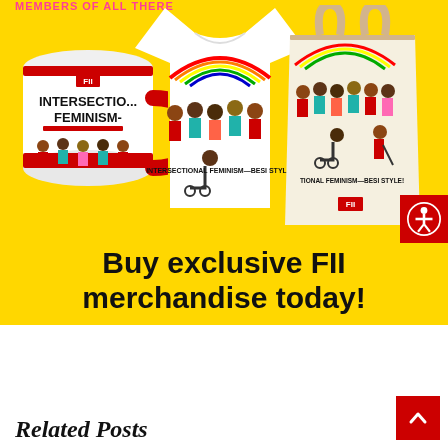members of all there
[Figure (photo): FII merchandise banner on yellow background showing a red mug with 'INTERSECTIONAL FEMINISM' text and illustration, a white t-shirt with 'INTERSECTIONAL FEMINISM—BESI STYLE!' illustration, and a tote bag with 'TIONAL FEMINISM—BESI STYLE!' illustration, all featuring diverse women characters]
Buy exclusive FII merchandise today!
Related Posts